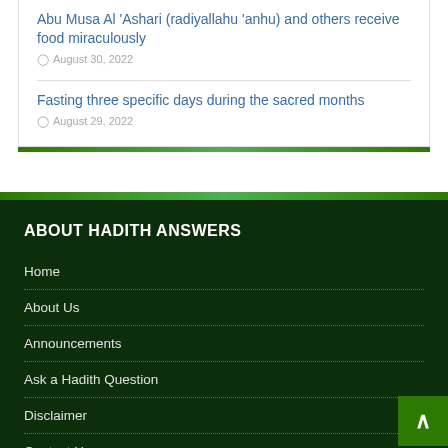Abu Musa Al 'Ashari (radiyallahu 'anhu) and others receive food miraculously
August 30, 2022
Fasting three specific days during the sacred months
August 29, 2022
ABOUT HADITH ANSWERS
Home
About Us
Announcements
Ask a Hadith Question
Disclaimer
Contact Us